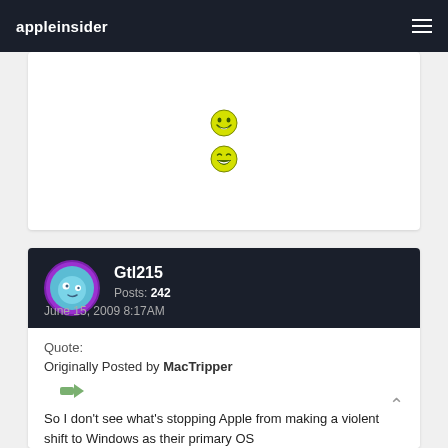appleinsider
[Figure (illustration): Two yellow smiley face emoji icons stacked vertically on a white card background]
Gtl215
Posts: 242
June 15, 2009 8:17AM
Quote:
Originally Posted by MacTripper

So I don't see what's stopping Apple from making a violent shift to Windows as their primary OS